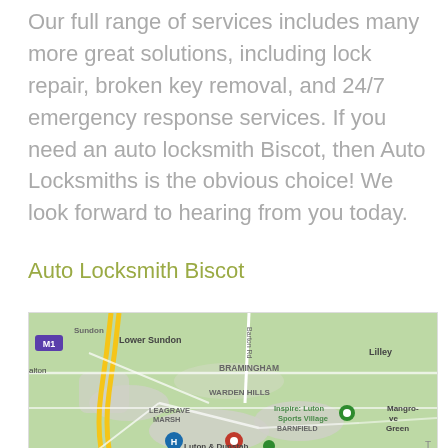Our full range of services includes many more great solutions, including lock repair, broken key removal, and 24/7 emergency response services. If you need an auto locksmith Biscot, then Auto Locksmiths is the obvious choice! We look forward to hearing from you today.
Auto Locksmith Biscot
[Figure (map): Google Maps screenshot showing area around Biscot/Luton, UK. Visible locations include Lower Sundon, Lilley, Bramingham, Warden Hills, Leagrave Marsh, Barnfield, Mangrove Green, Inspire: Luton Sports Village (green marker), Luton & Dunstable University Hospital (H marker), and red location pin. M1 motorway visible. Roads shown in yellow and white on green background.]